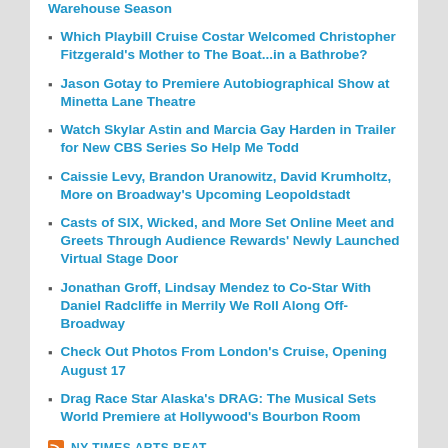Which Playbill Cruise Costar Welcomed Christopher Fitzgerald's Mother to The Boat...in a Bathrobe?
Jason Gotay to Premiere Autobiographical Show at Minetta Lane Theatre
Watch Skylar Astin and Marcia Gay Harden in Trailer for New CBS Series So Help Me Todd
Caissie Levy, Brandon Uranowitz, David Krumholtz, More on Broadway's Upcoming Leopoldstadt
Casts of SIX, Wicked, and More Set Online Meet and Greets Through Audience Rewards' Newly Launched Virtual Stage Door
Jonathan Groff, Lindsay Mendez to Co-Star With Daniel Radcliffe in Merrily We Roll Along Off-Broadway
Check Out Photos From London's Cruise, Opening August 17
Drag Race Star Alaska's DRAG: The Musical Sets World Premiere at Hollywood's Bourbon Room
NY TIMES ARTS BEAT